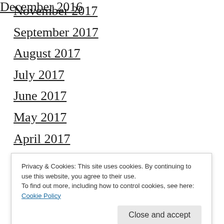November 2017
September 2017
August 2017
July 2017
June 2017
May 2017
April 2017
March 2017
February 2017
January 2017
December 2016
Privacy & Cookies: This site uses cookies. By continuing to use this website, you agree to their use.
To find out more, including how to control cookies, see here: Cookie Policy
July 2015